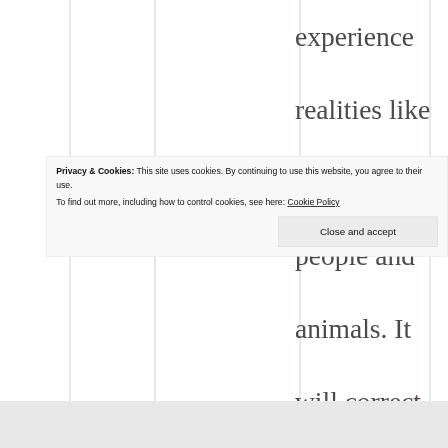experience realities like the death of people and animals. It will correct a lot of belief imbalances real quick.
Privacy & Cookies: This site uses cookies. By continuing to use this website, you agree to their use. To find out more, including how to control cookies, see here: Cookie Policy
Close and accept